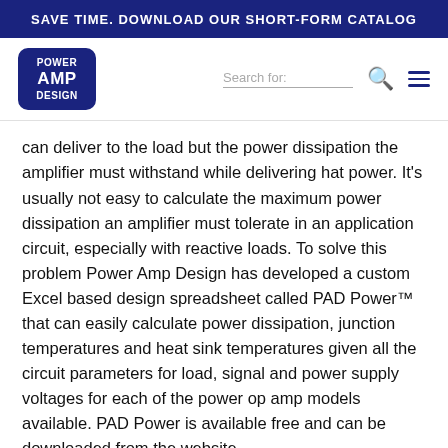SAVE TIME. DOWNLOAD OUR SHORT-FORM CATALOG
[Figure (logo): Power Amp Design logo — dark blue rounded rectangle with white text POWER AMP DESIGN stacked in three lines]
can deliver to the load but the power dissipation the amplifier must withstand while delivering hat power. It's usually not easy to calculate the maximum power dissipation an amplifier must tolerate in an application circuit, especially with reactive loads. To solve this problem Power Amp Design has developed a custom Excel based design spreadsheet called PAD Power™ that can easily calculate power dissipation, junction temperatures and heat sink temperatures given all the circuit parameters for load, signal and power supply voltages for each of the power op amp models available. PAD Power is available free and can be downloaded from the website.